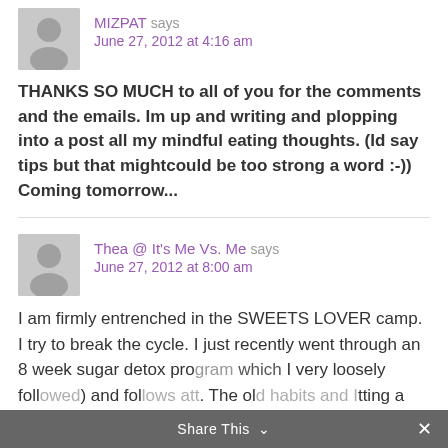[Figure (illustration): Gray avatar silhouette icon for first commenter]
MIZPAT says
June 27, 2012 at 4:16 am
THANKS SO MUCH to all of you for the comments and the emails. Im up and writing and plopping into a post all my mindful eating thoughts. (Id say tips but that mightcould be too strong a word :-)) Coming tomorrow...
[Figure (illustration): Gray avatar silhouette icon for second commenter]
Thea @ It's Me Vs. Me says
June 27, 2012 at 8:00 am
I am firmly entrenched in the SWEETS LOVER camp. I try to break the cycle. I just recently went through an 8 week sugar detox program which I very loosely followed) and follows att. The old habits and Hitting a
Share This